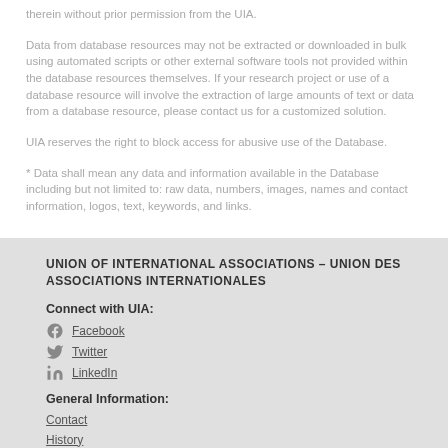therein without prior permission from the UIA.
Data from database resources may not be extracted or downloaded in bulk using automated scripts or other external software tools not provided within the database resources themselves. If your research project or use of a database resource will involve the extraction of large amounts of text or data from a database resource, please contact us for a customized solution.
UIA reserves the right to block access for abusive use of the Database.
* Data shall mean any data and information available in the Database including but not limited to: raw data, numbers, images, names and contact information, logos, text, keywords, and links.
UNION OF INTERNATIONAL ASSOCIATIONS – UNION DES ASSOCIATIONS INTERNATIONALES
Connect with UIA:
Facebook
Twitter
LinkedIn
General Information:
Contact
History